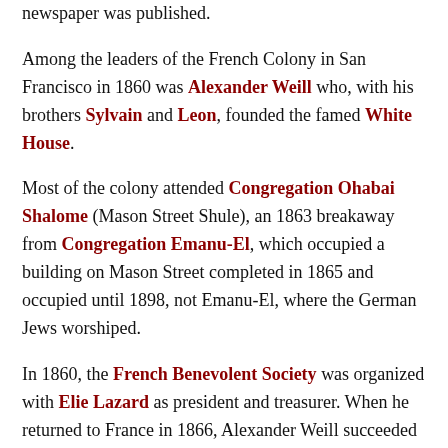newspaper was published.
Among the leaders of the French Colony in San Francisco in 1860 was Alexander Weill who, with his brothers Sylvain and Leon, founded the famed White House.
Most of the colony attended Congregation Ohabai Shalome (Mason Street Shule), an 1863 breakaway from Congregation Emanu-El, which occupied a building on Mason Street completed in 1865 and occupied until 1898, not Emanu-El, where the German Jews worshiped.
In 1860, the French Benevolent Society was organized with Elie Lazard as president and treasurer. When he returned to France in 1866, Alexander Weill succeeded him. When Elie Lazard left San Francisco, a great banquet was given for him and marked the high esteem in which he was